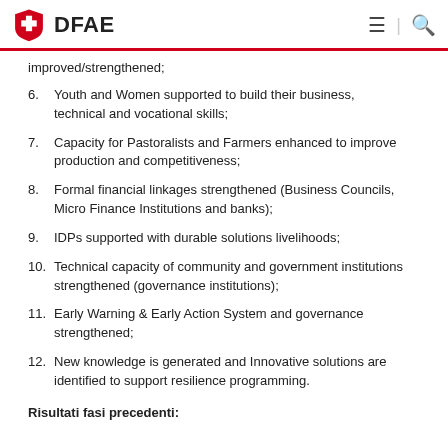DFAE
improved/strengthened;
6.    Youth and Women supported to build their business, technical and vocational skills;
7.    Capacity for Pastoralists and Farmers enhanced to improve production and competitiveness;
8.    Formal financial linkages strengthened (Business Councils, Micro Finance Institutions and banks);
9.    IDPs supported with durable solutions livelihoods;
10.    Technical capacity of community and government institutions strengthened (governance institutions);
11.    Early Warning & Early Action System and governance strengthened;
12.    New knowledge is generated and Innovative solutions are identified to support resilience programming.
Risultati fasi precedenti: